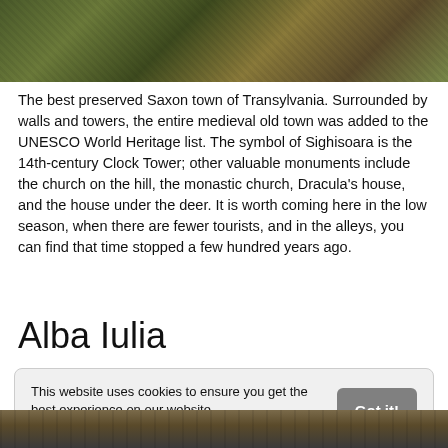[Figure (photo): Top portion of a photo showing vegetation/greenery in Transylvania]
The best preserved Saxon town of Transylvania. Surrounded by walls and towers, the entire medieval old town was added to the UNESCO World Heritage list. The symbol of Sighisoara is the 14th-century Clock Tower; other valuable monuments include the church on the hill, the monastic church, Dracula's house, and the house under the deer. It is worth coming here in the low season, when there are fewer tourists, and in the alleys, you can find that time stopped a few hundred years ago.
Alba Iulia
This website uses cookies to ensure you get the best experience on our website. Learn more
[Figure (photo): Bottom portion of a photo, partially visible at the bottom of the page]